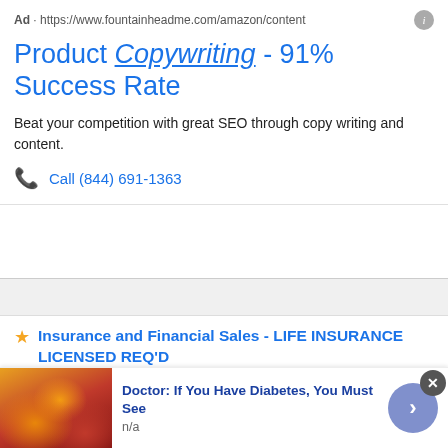Ad · https://www.fountainheadme.com/amazon/content
Product Copywriting - 91% Success Rate
Beat your competition with great SEO through copy writing and content.
Call (844) 691-1363
Insurance and Financial Sales - LIFE INSURANCE LICENSED REQ'D
National Agents Alliance - Lyon,MS
***CURRENT LIFE INSURANCE LICENSE
This site uses cookies and other similar technologies to provide site functionality, analyze traffic and usage, and
Doctor: If You Have Diabetes, You Must See
n/a